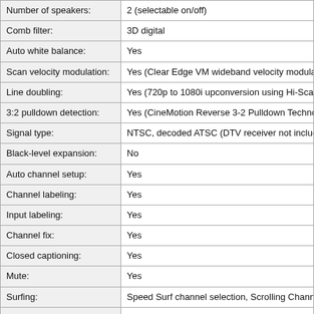| Feature | Value |
| --- | --- |
| Number of speakers: | 2 (selectable on/off) |
| Comb filter: | 3D digital |
| Auto white balance: | Yes |
| Scan velocity modulation: | Yes (Clear Edge VM wideband velocity modulation) |
| Line doubling: | Yes (720p to 1080i upconversion using Hi-Scan tech…) |
| 3:2 pulldown detection: | Yes (CineMotion Reverse 3-2 Pulldown Technology) |
| Signal type: | NTSC, decoded ATSC (DTV receiver not included) |
| Black-level expansion: | No |
| Auto channel setup: | Yes |
| Channel labeling: | Yes |
| Input labeling: | Yes |
| Channel fix: | Yes |
| Closed captioning: | Yes |
| Mute: | Yes |
| Surfing: | Speed Surf channel selection, Scrolling Channel Inc… |
| Favorite channel: | Yes (with preview) |
| Picture freeze: | Yes |